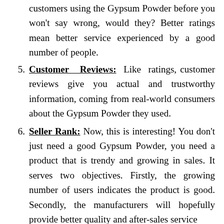customers using the Gypsum Powder before you won't say wrong, would they? Better ratings mean better service experienced by a good number of people.
5. Customer Reviews: Like ratings, customer reviews give you actual and trustworthy information, coming from real-world consumers about the Gypsum Powder they used.
6. Seller Rank: Now, this is interesting! You don't just need a good Gypsum Powder, you need a product that is trendy and growing in sales. It serves two objectives. Firstly, the growing number of users indicates the product is good. Secondly, the manufacturers will hopefully provide better quality and after-sales service